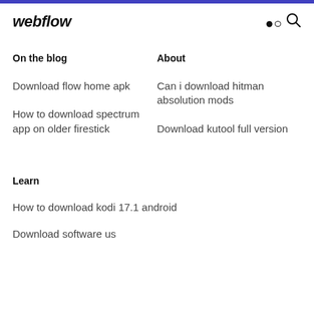webflow
On the blog
About
Download flow home apk
Can i download hitman absolution mods
How to download spectrum app on older firestick
Download kutool full version
Learn
How to download kodi 17.1 android
Download software us